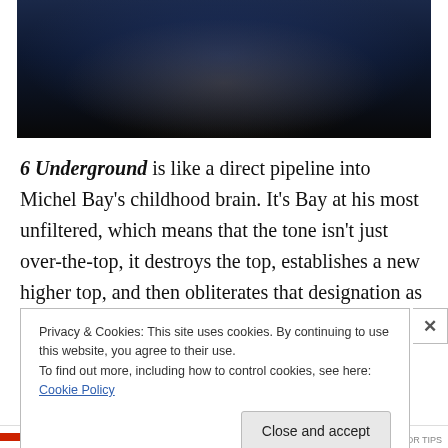[Figure (photo): Dark photo of a person on stage, dimly lit with blue and dark tones, appears to be holding something]
6 Underground is like a direct pipeline into Michel Bay's childhood brain. It's Bay at his most unfiltered, which means that the tone isn't just over-the-top, it destroys the top, establishes a new higher top, and then obliterates that designation as well. Watching the movie is like a descent
Privacy & Cookies: This site uses cookies. By continuing to use this website, you agree to their use.
To find out more, including how to control cookies, see here: Cookie Policy
Close and accept